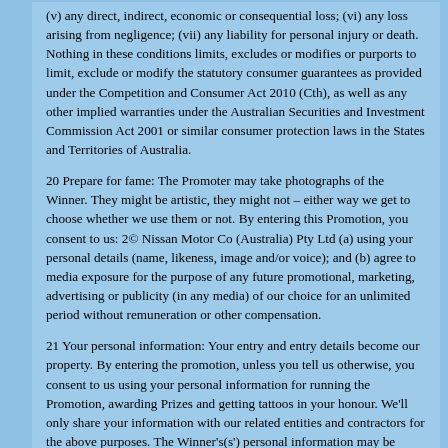(v) any direct, indirect, economic or consequential loss; (vi) any loss arising from negligence; (vii) any liability for personal injury or death. Nothing in these conditions limits, excludes or modifies or purports to limit, exclude or modify the statutory consumer guarantees as provided under the Competition and Consumer Act 2010 (Cth), as well as any other implied warranties under the Australian Securities and Investment Commission Act 2001 or similar consumer protection laws in the States and Territories of Australia.
20 Prepare for fame: The Promoter may take photographs of the Winner. They might be artistic, they might not – either way we get to choose whether we use them or not. By entering this Promotion, you consent to us: 2© Nissan Motor Co (Australia) Pty Ltd (a) using your personal details (name, likeness, image and/or voice); and (b) agree to media exposure for the purpose of any future promotional, marketing, advertising or publicity (in any media) of our choice for an unlimited period without remuneration or other compensation.
21 Your personal information: Your entry and entry details become our property. By entering the promotion, unless you tell us otherwise, you consent to us using your personal information for running the Promotion, awarding Prizes and getting tattoos in your honour. We'll only share your information with our related entities and contractors for the above purposes. The Winner's(s') personal information may be disclosed to State and Territory lottery departments as required by law. You can ask us to access the personal information we hold about you and request that corrections be made to it – but only where such correction requests are legitimate.